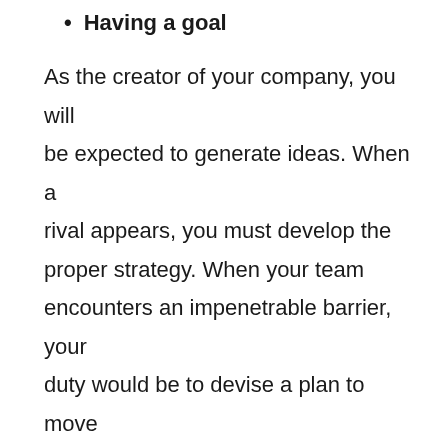Having a goal
As the creator of your company, you will be expected to generate ideas. When a rival appears, you must develop the proper strategy. When your team encounters an impenetrable barrier, your duty would be to devise a plan to move forward.
This necessitates constant innovation, which is why entrepreneurs hardly have